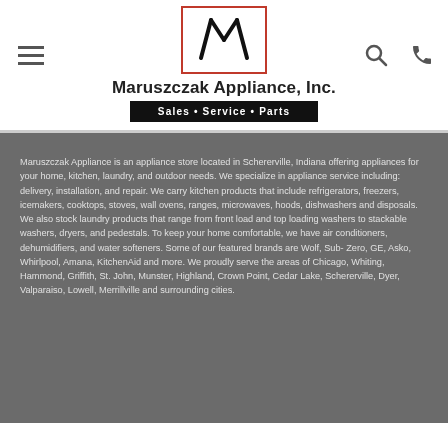[Figure (logo): Maruszczak Appliance Inc. logo — stylized M in a rounded rectangle with red border]
Maruszczak Appliance, Inc.
Sales • Service • Parts
Maruszczak Appliance is an appliance store located in Schererville, Indiana offering appliances for your home, kitchen, laundry, and outdoor needs. We specialize in appliance service including: delivery, installation, and repair. We carry kitchen products that include refrigerators, freezers, icemakers, cooktops, stoves, wall ovens, ranges, microwaves, hoods, dishwashers and disposals. We also stock laundry products that range from front load and top loading washers to stackable washers, dryers, and pedestals. To keep your home comfortable, we have air conditioners, dehumidifiers, and water softeners. Some of our featured brands are Wolf, Sub- Zero, GE, Asko, Whirlpool, Amana, KitchenAid and more. We proudly serve the areas of Chicago, Whiting, Hammond, Griffith, St. John, Munster, Highland, Crown Point, Cedar Lake, Schererville, Dyer, Valparaiso, Lowell, Merrillville and surrounding cities.